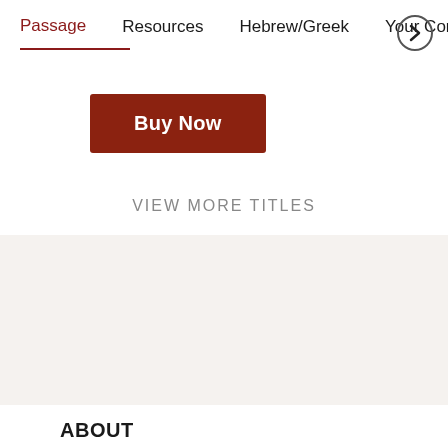Passage   Resources   Hebrew/Greek   Your Cont >
Buy Now
VIEW MORE TITLES
ABOUT